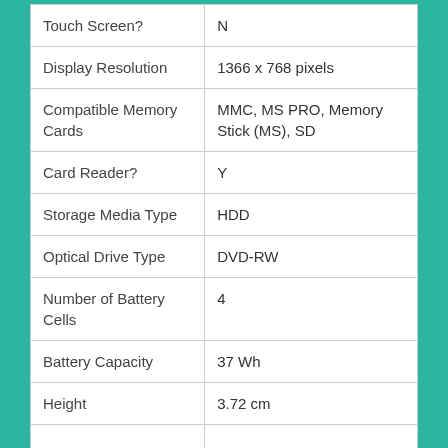| Feature | Value |
| --- | --- |
| Touch Screen? | N |
| Display Resolution | 1366 x 768 pixels |
| Compatible Memory Cards | MMC, MS PRO, Memory Stick (MS), SD |
| Card Reader? | Y |
| Storage Media Type | HDD |
| Optical Drive Type | DVD-RW |
| Number of Battery Cells | 4 |
| Battery Capacity | 37 Wh |
| Height | 3.72 cm |